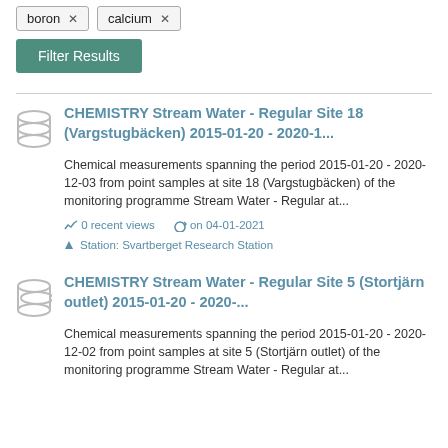boron ×
calcium ×
Filter Results
CHEMISTRY Stream Water - Regular Site 18 (Vargstugbäcken) 2015-01-20 - 2020-1...
Chemical measurements spanning the period 2015-01-20 - 2020-12-03 from point samples at site 18 (Vargstugbäcken) of the monitoring programme Stream Water - Regular at...
0 recent views   on 04-01-2021
Station: Svartberget Research Station
CHEMISTRY Stream Water - Regular Site 5 (Stortjärn outlet) 2015-01-20 - 2020-...
Chemical measurements spanning the period 2015-01-20 - 2020-12-02 from point samples at site 5 (Stortjärn outlet) of the monitoring programme Stream Water - Regular at...